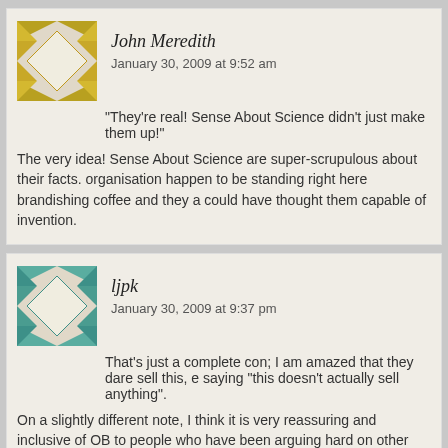[Figure (illustration): Geometric quilted avatar icon with gold/yellow and white diamond pattern for John Meredith]
John Meredith
January 30, 2009 at 9:52 am
“They’re real! Sense About Science didn’t just make them up!”
The very idea! Sense About Science are super-scrupulous about their facts. organisation happen to be standing right here brandishing coffee and they a could have thought them capable of invention.
[Figure (illustration): Geometric quilted avatar icon with teal/green and white diamond pattern for ljpk]
ljpk
January 30, 2009 at 9:37 pm
That’s just a complete con; I am amazed that they dare sell this, e saying “this doesn’t actually sell anything”.
On a slightly different note, I think it is very reassuring and inclusive of OB to people who have been arguing hard on other posts can all come together to completely nuts. It gives me a warm fuzzy feeling inside :)
[Figure (illustration): Geometric quilted avatar icon with teal/green and white diamond pattern for dzd]
dzd
January 31, 2009 at 2:48 pm